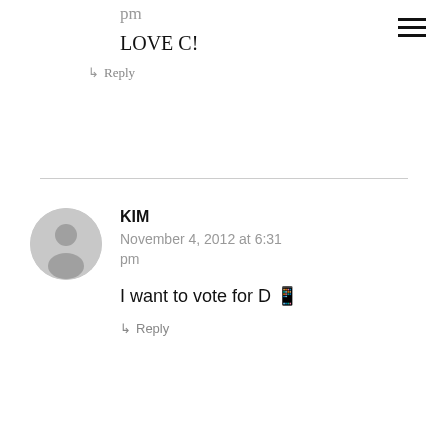pm
LOVE C!
↳ Reply
KIM
November 4, 2012 at 6:31 pm
I want to vote for D 🍕
↳ Reply